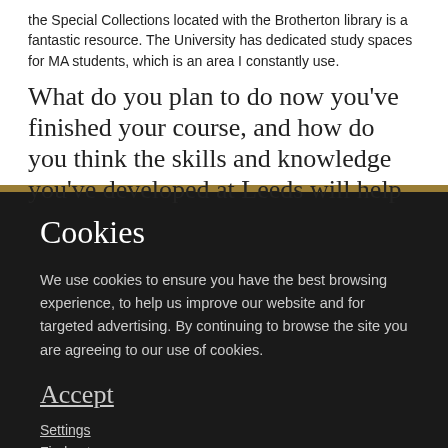the Special Collections located with the Brotherton library is a fantastic resource. The University has dedicated study spaces for MA students, which is an area I constantly use.
What do you plan to do now you've finished your course, and how do you think the skills and knowledge you've developed at Leeds will help
Cookies
We use cookies to ensure you have the best browsing experience, to help us improve our website and for targeted advertising. By continuing to browse the site you are agreeing to our use of cookies.
Accept
Settings
Find out more